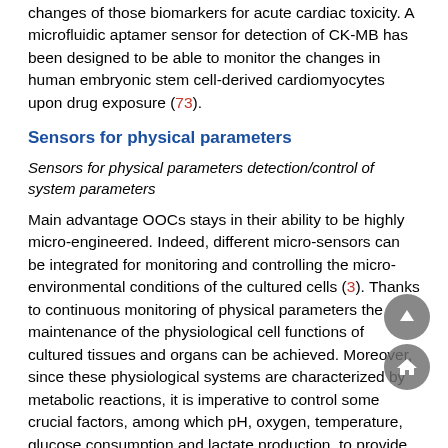changes of those biomarkers for acute cardiac toxicity. A microfluidic aptamer sensor for detection of CK-MB has been designed to be able to monitor the changes in human embryonic stem cell-derived cardiomyocytes upon drug exposure (73).
Sensors for physical parameters
Sensors for physical parameters detection/control of system parameters
Main advantage OOCs stays in their ability to be highly micro-engineered. Indeed, different micro-sensors can be integrated for monitoring and controlling the micro-environmental conditions of the cultured cells (3). Thanks to continuous monitoring of physical parameters the maintenance of the physiological cell functions of cultured tissues and organs can be achieved. Moreover, since these physiological systems are characterized by metabolic reactions, it is imperative to control some crucial factors, among which pH, oxygen, temperature, glucose consumption and lactate production, to provide indication on the dynamic state of the human-on-a-chip system (118). Therefore, such systems should